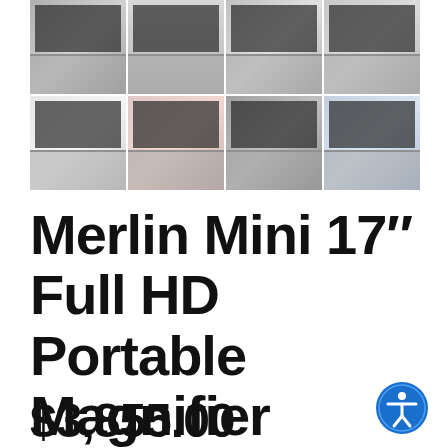[Figure (photo): Grid of 8 product photos showing the Merlin Mini 17 inch Full HD Portable Magnifier device from various angles and in use by people]
Merlin Mini 17″ Full HD Portable Magnifier
$3,855.00